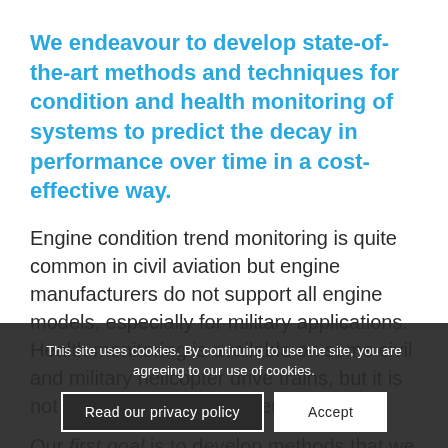We endeavour to develop state-of-the-art methods and techniques for condition and health monitoring of systems to predict the decay in performance over time in a cost-effective way.
Engine condition trend monitoring is quite common in civil aviation but engine manufacturers do not support all engine models, especially for military applications. Health monitoring is available on some civil and military helicopter drive trains, but it is not common on other systems.
Our first goal is to develop methods that we can apply to monitor the condition of systems that are not supported and second goal is to be able to determine if condition or
This site uses cookies. By continuing to use the site, you are agreeing to our use of cookies.